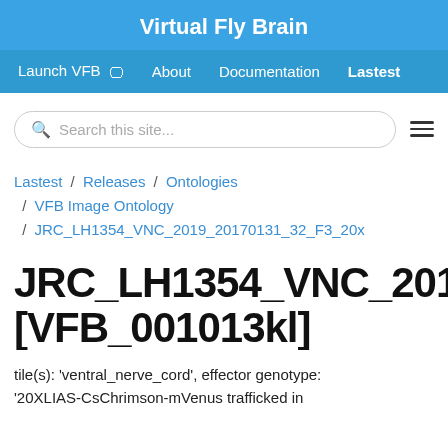Virtual Fly Brain
Launch VFB  About  Documentation  Lastest
Search this site...
Lastest / Releases / Ontologies / VFB Image Ontology / JRC_LH1354_VNC_2019_20170131_32_F3_20x
JRC_LH1354_VNC_2019_20... [VFB_001013kl]
tile(s): 'ventral_nerve_cord', effector genotype: '20XLIAS-CsChrimson-mVenus trafficked in